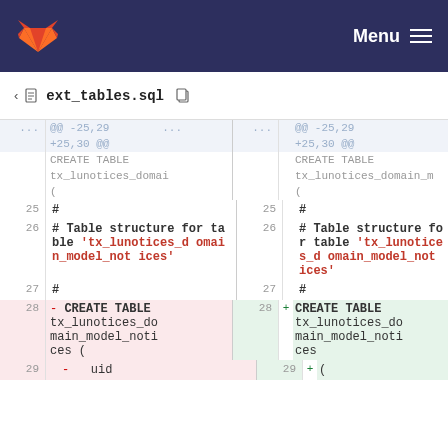Menu
ext_tables.sql
@@ -25,29 ... +25,30 @@ CREATE TABLE tx_lunotices_domain_model_notices ( # # Table structure for table 'tx_lunotices_domain_model_notices' # CREATE TABLE tx_lunotices_do main_model_noti ces ( uid
@@ -25,29 ... +25,30 @@ CREATE TABLE tx_lunotices_domain_model_n ( # # Table structure for table 'tx_lunotices_domain_model_notices' # CREATE TABLE tx_lunotices_do main_model_noti ces + ( uid